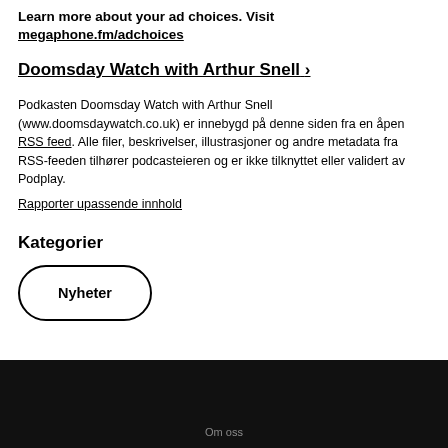Learn more about your ad choices. Visit megaphone.fm/adchoices
Doomsday Watch with Arthur Snell ›
Podkasten Doomsday Watch with Arthur Snell (www.doomsdaywatch.co.uk) er innebygd på denne siden fra en åpen RSS feed. Alle filer, beskrivelser, illustrasjoner og andre metadata fra RSS-feeden tilhører podcasteieren og er ikke tilknyttet eller validert av Podplay.
Rapporter upassende innhold
Kategorier
Nyheter
Om oss